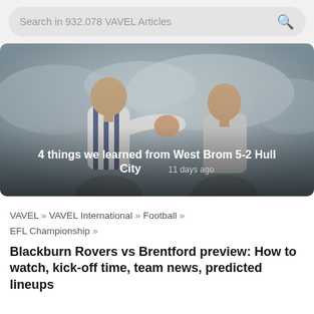Search in 932.078 VAVEL Articles
[Figure (photo): Two West Brom football players in white/navy striped jerseys celebrating, fist bump, blurred stadium crowd background]
4 things we learned from West Brom 5-2 Hull City  11 days ago
VAVEL » VAVEL International » Football » EFL Championship »
Blackburn Rovers vs Brentford preview: How to watch, kick-off time, team news, predicted lineups